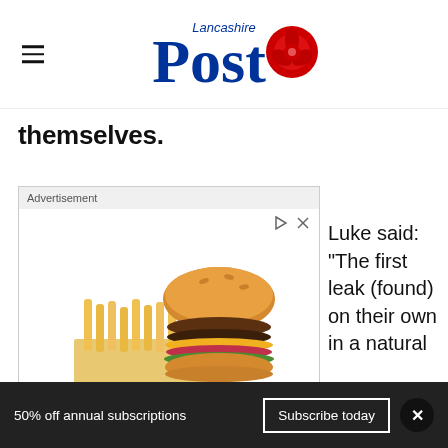Lancashire Post
themselves.
[Figure (photo): Advertisement banner showing IHOP burger and fries with IHOP logo and 'Head To IHOP® For Ihoppy Hour' text, with location info 'IHOP Ashburn 6AM–12AM']
Luke said: "The first leak (found) on their own in a natural
50% off annual subscriptions
Subscribe today